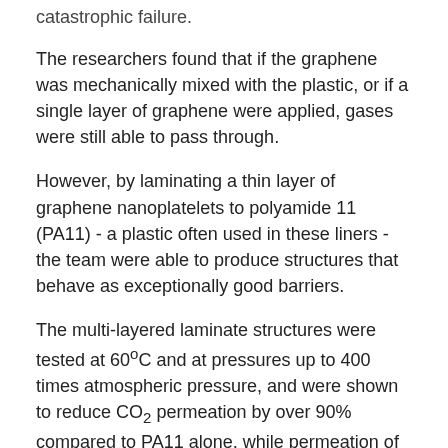catastrophic failure.
The researchers found that if the graphene was mechanically mixed with the plastic, or if a single layer of graphene were applied, gases were still able to pass through.
However, by laminating a thin layer of graphene nanoplatelets to polyamide 11 (PA11) - a plastic often used in these liners - the team were able to produce structures that behave as exceptionally good barriers.
The multi-layered laminate structures were tested at 60°C and at pressures up to 400 times atmospheric pressure, and were shown to reduce CO₂ permeation by over 90% compared to PA11 alone, while permeation of H₂S can be reduced to undetectable levels.
Graphene is the world's first two-dimensional